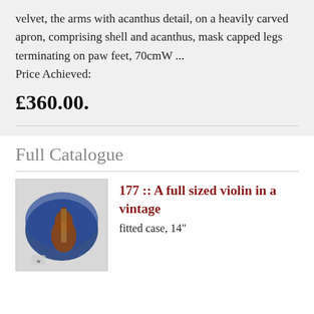velvet, the arms with acanthus detail, on a heavily carved apron, comprising shell and acanthus, mask capped legs terminating on paw feet, 70cmW ... Price Achieved: £360.00.
Full Catalogue
[Figure (photo): A full sized violin in a vintage fitted case with blue interior lining]
177 :: A full sized violin in a vintage fitted case, 14"